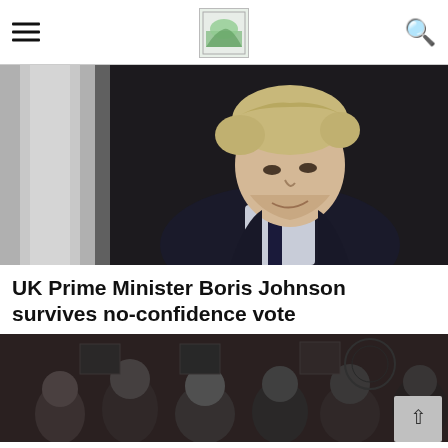Website header with logo, hamburger menu, and search icon
[Figure (photo): Boris Johnson, UK Prime Minister, standing in front of 10 Downing Street doorway, wearing a dark suit and tie, looking downward]
UK Prime Minister Boris Johnson survives no-confidence vote
[Figure (photo): Group of people in a dark indoor setting, partially visible]